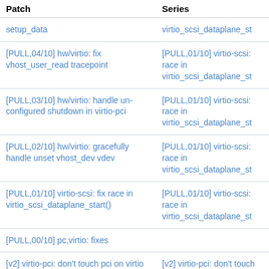| Patch | Series |
| --- | --- |
| setup_data | virtio_scsi_dataplane_st |
| [PULL,04/10] hw/virtio: fix vhost_user_read tracepoint | [PULL,01/10] virtio-scsi: race in virtio_scsi_dataplane_st |
| [PULL,03/10] hw/virtio: handle un-configured shutdown in virtio-pci | [PULL,01/10] virtio-scsi: race in virtio_scsi_dataplane_st |
| [PULL,02/10] hw/virtio: gracefully handle unset vhost_dev vdev | [PULL,01/10] virtio-scsi: race in virtio_scsi_dataplane_st |
| [PULL,01/10] virtio-scsi: fix race in virtio_scsi_dataplane_start() | [PULL,01/10] virtio-scsi: race in virtio_scsi_dataplane_st |
| [PULL,00/10] pc,virtio: fixes |  |
| [v2] virtio-pci: don't touch pci on virtio reset | [v2] virtio-pci: don't touch pci on virtio reset |
| virtio-pci: don't touch pci on virtio reset | virtio-pci: don't touch pci on virtio reset |
| [PULL,01/16] hw/virtio/... | [PULL,01/16] acpi/nvdin |